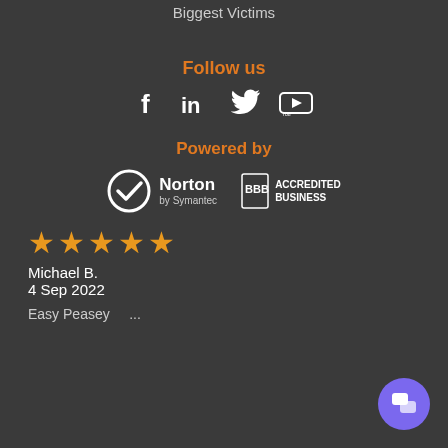Biggest Victims
Follow us
[Figure (illustration): Social media icons: Facebook, LinkedIn, Twitter, YouTube]
Powered by
[Figure (logo): Norton by Symantec logo and BBB Accredited Business logo]
[Figure (illustration): Five orange stars rating]
Michael B.
4 Sep 2022
Easy Peasey ...